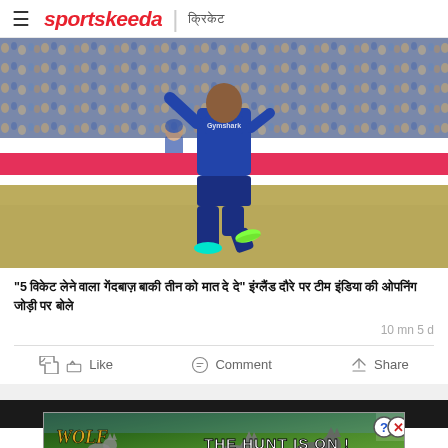sportskeeda | क्रिकेट
[Figure (photo): Cricket bowler in blue England kit on cricket field with crowd in background and advertising boards]
"5 विकेट लेने वाला गेंदबाज़ बाकी तीन को मात दे दे" इंग्लैंड दौरे पर टीम इंडिया की ओपनिंग जोड़ी पर बोले
10 mn 5 d
[Figure (infographic): Wolf Game - The Hunt Is On! advertisement banner with wolves on green meadow background]